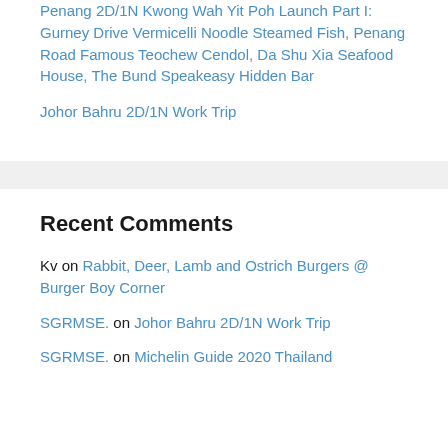Penang 2D/1N Kwong Wah Yit Poh Launch Part I: Gurney Drive Vermicelli Noodle Steamed Fish, Penang Road Famous Teochew Cendol, Da Shu Xia Seafood House, The Bund Speakeasy Hidden Bar
Johor Bahru 2D/1N Work Trip
Recent Comments
Kv on Rabbit, Deer, Lamb and Ostrich Burgers @ Burger Boy Corner
SGRMSE. on Johor Bahru 2D/1N Work Trip
SGRMSE. on Michelin Guide 2020 Thailand